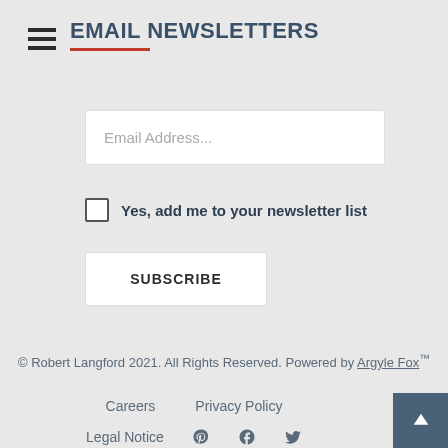EMAIL NEWSLETTERS
Email Address...
Yes, add me to your newsletter list
SUBSCRIBE
© Robert Langford 2021. All Rights Reserved. Powered by Argyle Fox™
Careers   Privacy Policy   Legal Notice
Social icons: Pinterest, Facebook, Twitter, Instagram